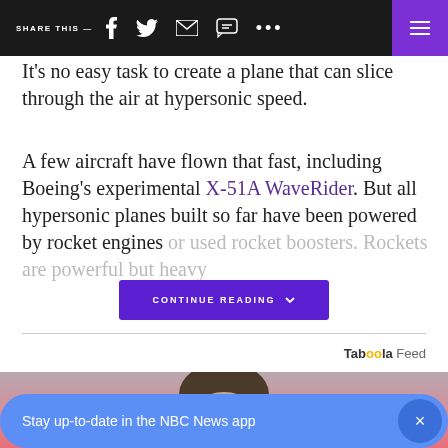SHARE THIS —  [social icons]  [menu]
It's no easy task to create a plane that can slice through the air at hypersonic speed.
A few aircraft have flown that fast, including Boeing's experimental X-51A WaveRider. But all hypersonic planes built so far have been powered by rocket engines or used rocket boosters. Rockets are powerful but heavy
CONTINUE READING
Taboola Feed
[Figure (photo): Photo of a person with dark hair against a pink background]
Stay up-to-date in the NBC News app